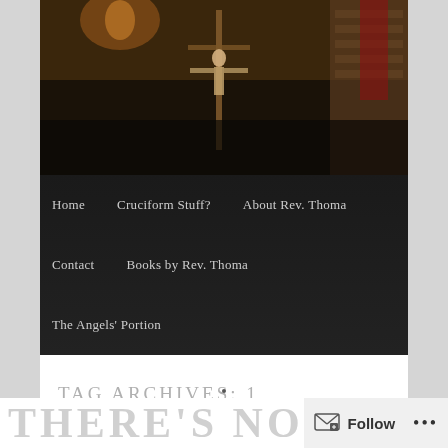[Figure (photo): Dark interior church/religious photo showing a crucifix figure with candlelight and brick wall in background]
Home   Cruciform Stuff?   About Rev. Thoma   Contact   Books by Rev. Thoma   The Angels' Portion
TAG ARCHIVES: 1 CORINTHIANS
13:1-13
THERE'S NO...
Follow ...